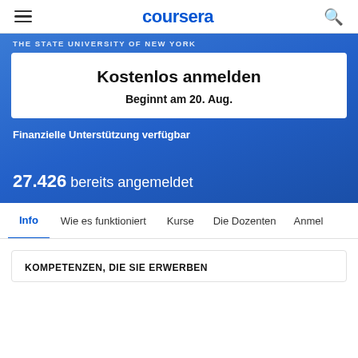coursera
THE STATE UNIVERSITY OF NEW YORK
Kostenlos anmelden
Beginnt am 20. Aug.
Finanzielle Unterstützung verfügbar
27.426 bereits angemeldet
Info | Wie es funktioniert | Kurse | Die Dozenten | Anmel
KOMPETENZEN, DIE SIE ERWERBEN